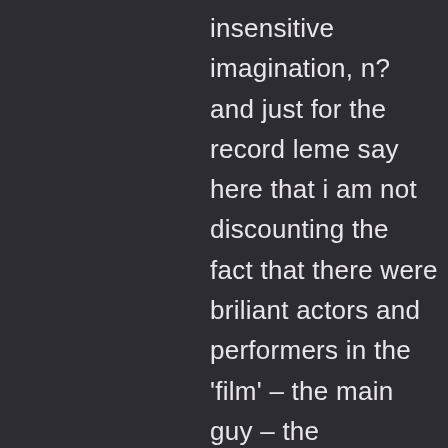insensitive imagination, n? and just for the record leme say here that i am not discounting the fact that there were briliant actors and performers in the 'film' – the main guy – the